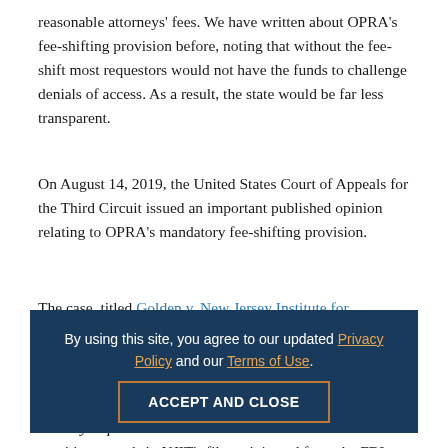reasonable attorneys' fees. We have written about OPRA's fee-shifting provision before, noting that without the fee-shift most requestors would not have the funds to challenge denials of access. As a result, the state would be far less transparent.
On August 14, 2019, the United States Court of Appeals for the Third Circuit issued an important published opinion relating to OPRA's mandatory fee-shifting provision.
The case, titled Golden v. New Jersey Institute for Technology, involved OPRA requests filed by Pulitzer Prize-winning journalist Daniel Golden, who was seeking records from NJIT to use as research for his book, "Spy Schools: How the CIA, FBI, and Foreign Intelligence Secretly Exploit America's Universities." Some of the sensitive records in NJIT's files originated from the FBI and were purportedly subject to prohibitions on public dissemination.
By using this site, you agree to our updated Privacy Policy and our Terms of Use.
ACCEPT AND CLOSE